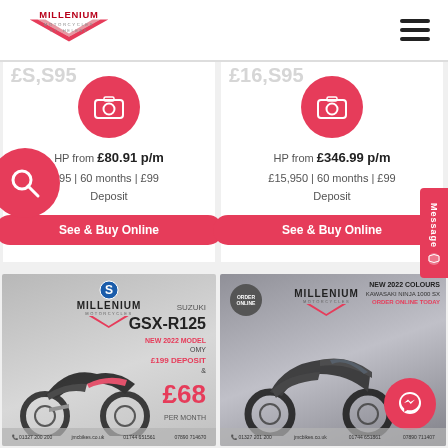[Figure (logo): Millenium Motorcycles St Helens logo - red chevron with text]
[Figure (screenshot): Motorcycle listing card left - HP from £80.91 p/m, £95, 60 months, £99 Deposit, See & Buy Online button]
[Figure (screenshot): Motorcycle listing card right - HP from £346.99 p/m, £15,950, 60 months, £99 Deposit, See & Buy Online button]
[Figure (photo): Suzuki GSX-R125 motorcycle promotional image with Millenium Motorcycles branding, £199 deposit, £68 per month]
[Figure (photo): Kawasaki Ninja 1000 SX motorcycle promotional image with Millenium Motorcycles branding, new 2022 colours, order online today]